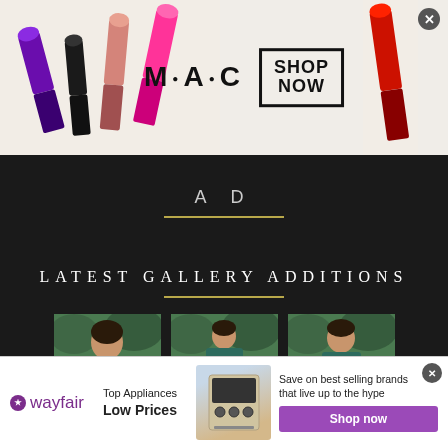[Figure (screenshot): MAC Cosmetics advertisement banner showing colorful lipsticks on left side (purple, pink, hot pink), MAC logo in center, SHOP NOW box on right, and red lipstick on far right. Close button in top-right corner.]
AD
LATEST GALLERY ADDITIONS
[Figure (photo): Three thumbnail photos of a woman wearing a teal/dark green turtleneck top with belt, shown from different distances, set against outdoor green foliage background.]
[Figure (screenshot): Wayfair advertisement: Wayfair logo on left, 'Top Appliances Low Prices' tagline, image of stove/oven appliance in center, 'Save on best selling brands that live up to the hype' text, and purple 'Shop now' button on right. Close button in top-right corner.]